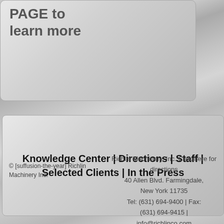PAGE to learn more
Knowledge Center | Directions | Staff | Selected Clients | In the Press
© [suffusion-the-year] Richlin Machinery Inc.
Richlin Machinery, Inc. Click here for directions
40 Allen Blvd. Farmingdale, New York 11735
Tel: (631) 694-9400 | Fax: (631) 694-9415 |
info@richlinco.com